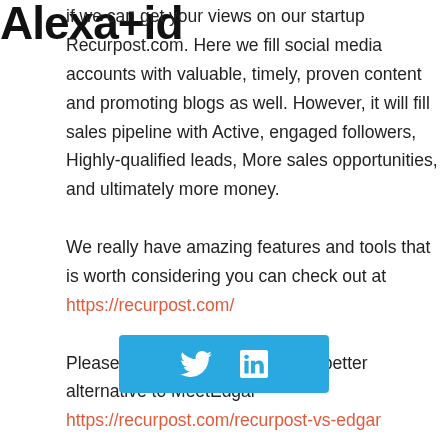Alexa+id
if we can get your views on our startup Recurpost.com. Here we fill social media accounts with valuable, timely, proven content and promoting blogs as well. However, it will fill sales pipeline with Active, engaged followers, Highly-qualified leads, More sales opportunities, and ultimately more money.

We really have amazing features and tools that is worth considering you can check out at https://recurpost.com/

Please do check out how we are better alternative to MeetEdgar https://recurpost.com/recurpost-vs-edgar

Hope you like us, looking forward for the
[Figure (other): Social sharing bar with Twitter and LinkedIn icons on a light blue background]